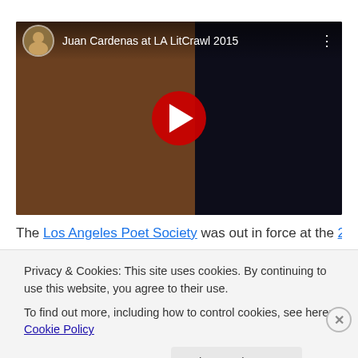[Figure (screenshot): YouTube video thumbnail showing 'Juan Cardenas at LA LitCrawl 2015'. Left side shows a person with dark hair wearing a patterned blue shirt. Right side shows a night outdoor scene with a palm tree and a person walking. A red YouTube play button is centered over the image.]
The Los Angeles Poet Society was out in force at the 2015
Privacy & Cookies: This site uses cookies. By continuing to use this website, you agree to their use.
To find out more, including how to control cookies, see here: Cookie Policy
Close and accept